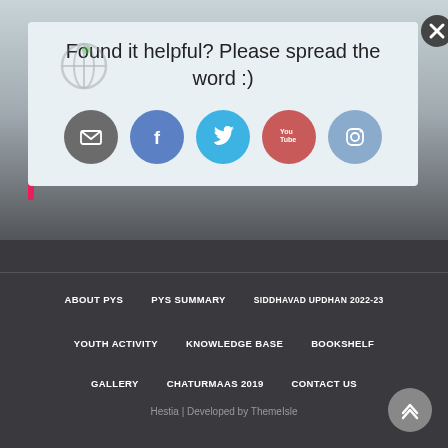[Figure (screenshot): Social sharing popup overlay with 'Found it helpful? Please spread the word :)' message and social media icons for email, Facebook, Twitter, YouTube, and Instagram. A close button (X) appears in top right. A globe/website icon appears top left.]
Found it helpful? Please spread the word :)
ABOUT PYS
PYS SUMMARY
SIDDHAVAD UPDHAN 2022-23
YOUTH ACTIVITY
KNOWLEDGE BASE
BOOKSHELF
GALLERY
CHATURMAAS 2019
CONTACT US
Hestia | Developed by ThemeIsle